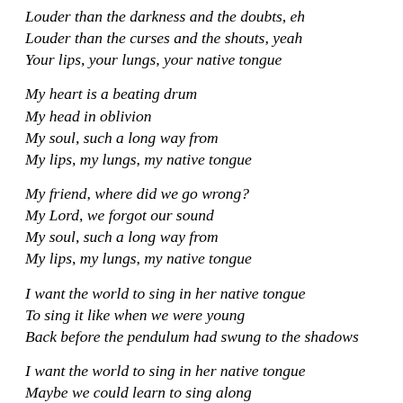Louder than the darkness and the doubts, eh
Louder than the curses and the shouts, yeah
Your lips, your lungs, your native tongue
My heart is a beating drum
My head in oblivion
My soul, such a long way from
My lips, my lungs, my native tongue
My friend, where did we go wrong?
My Lord, we forgot our sound
My soul, such a long way from
My lips, my lungs, my native tongue
I want the world to sing in her native tongue
To sing it like when we were young
Back before the pendulum had swung to the shadows
I want the world to sing in her native tongue
Maybe we could learn to sing along